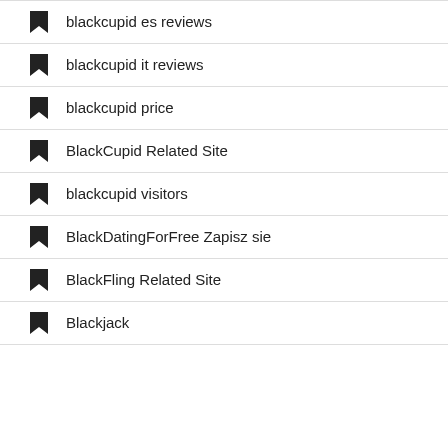blackcupid es reviews
blackcupid it reviews
blackcupid price
BlackCupid Related Site
blackcupid visitors
BlackDatingForFree Zapisz sie
BlackFling Related Site
Blackjack